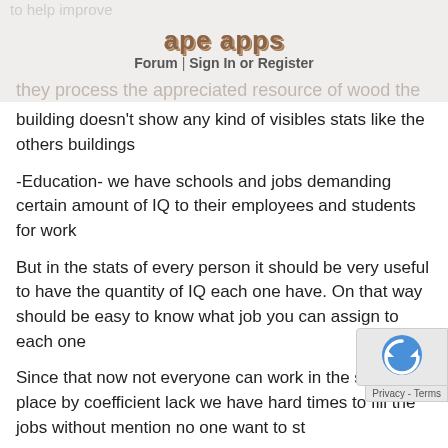to help improve
ape apps
Forum | Sign in or Register
they process the appreciated resource of wood the building doesn't show any kind of visibles stats like the others buildings
-Education- we have schools and jobs demanding certain amount of IQ to their employees and students for work
But in the stats of every person it should be very useful to have the quantity of IQ each one have. On that way should be easy to know what job you can assign to each one
Since that now not everyone can work in the same place by coefficient lack we have hard times to fill the jobs without mention no one want to st…
All right thanks for your time if am wrong ex…